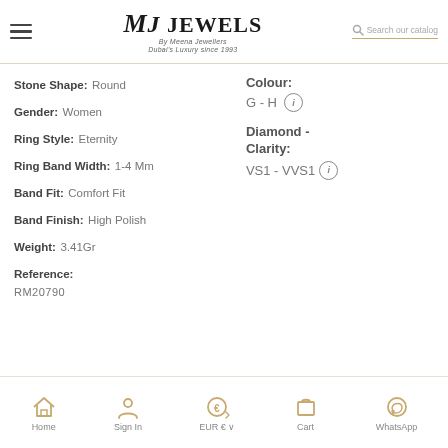MJ Jewels By Meena Jewellers Dubai's Luxury since 1993 — Search our catalog
Stone Shape: Round
Gender: Women
Ring Style: Eternity
Ring Band Width: 1-4 Mm
Band Fit: Comfort Fit
Band Finish: High Polish
Weight: 3.41Gr
Reference:
Colour: G - H
Diamond - Clarity: VS1 - VVS1
Home  Sign In  EUR €  Cart  WhatsApp